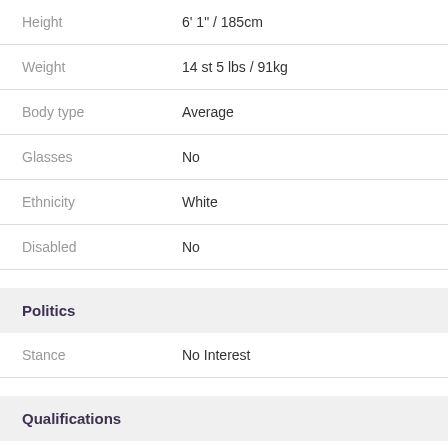| Attribute | Value |
| --- | --- |
| Height | 6' 1" / 185cm |
| Weight | 14 st 5 lbs / 91kg |
| Body type | Average |
| Glasses | No |
| Ethnicity | White |
| Disabled | No |
Politics
| Attribute | Value |
| --- | --- |
| Stance | No Interest |
Qualifications